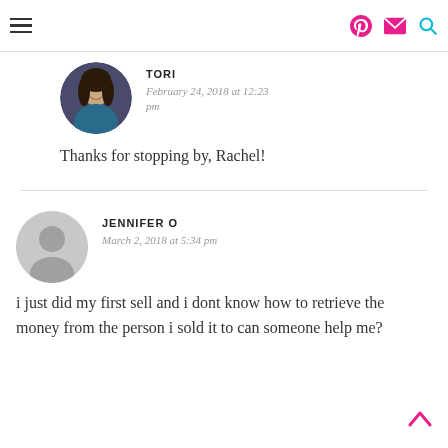Navigation bar with hamburger menu and icons (Pinterest, email, search)
TORI
February 24, 2018 at 12:23 pm
Thanks for stopping by, Rachel!
JENNIFER O
March 2, 2018 at 5:34 pm
i just did my first sell and i dont know how to retrieve the money from the person i sold it to can someone help me?